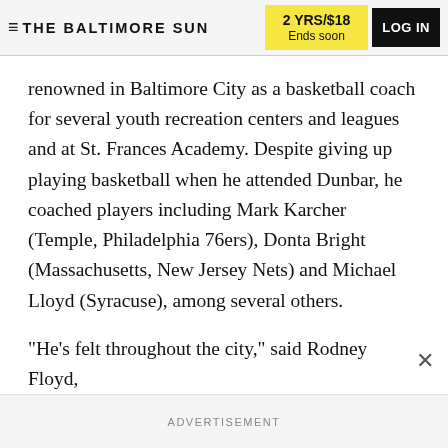THE BALTIMORE SUN | 2 YRS/$18 Ends soon | LOG IN
renowned in Baltimore City as a basketball coach for several youth recreation centers and leagues and at St. Frances Academy. Despite giving up playing basketball when he attended Dunbar, he coached players including Mark Karcher (Temple, Philadelphia 76ers), Donta Bright (Massachusetts, New Jersey Nets) and Michael Lloyd (Syracuse), among several others.
"He's felt throughout the city," said Rodney Floyd,
ADVERTISEMENT